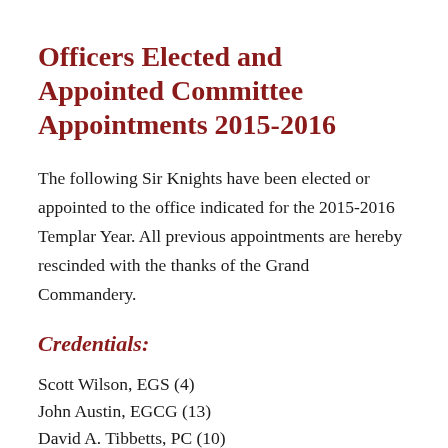Officers Elected and Appointed Committee Appointments 2015-2016
The following Sir Knights have been elected or appointed to the office indicated for the 2015-2016 Templar Year. All previous appointments are hereby rescinded with the thanks of the Grand Commandery.
Credentials:
Scott Wilson, EGS (4)
John Austin, EGCG (13)
David A. Tibbetts, PC (10)